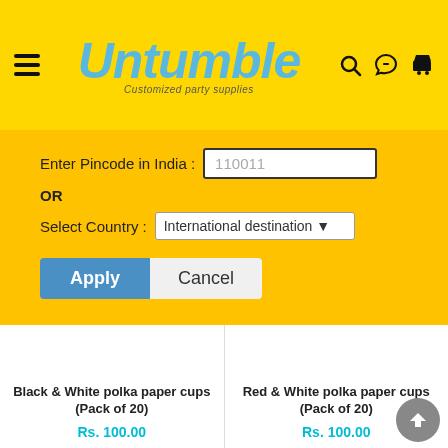[Figure (screenshot): Untumble website header with logo, hamburger menu, search, WhatsApp, and cart icons on yellow background]
Enter Pincode in India : 110011
OR
Select Country : International destination
Apply
Cancel
Black & White polka paper cups (Pack of 20)
Rs. 100.00
Red & White polka paper cups (Pack of 20)
Rs. 100.00